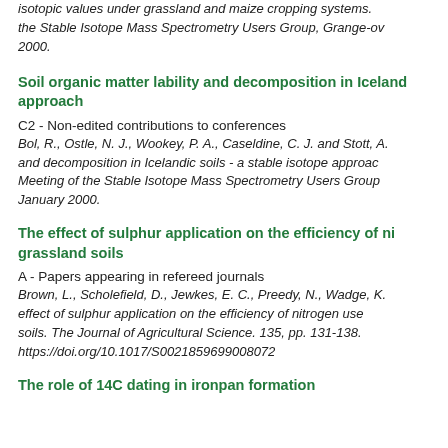isotopic values under grassland and maize cropping systems. the Stable Isotope Mass Spectrometry Users Group, Grange-ov 2000.
Soil organic matter lability and decomposition in Iceland approach
C2 - Non-edited contributions to conferences
Bol, R., Ostle, N. J., Wookey, P. A., Caseldine, C. J. and Stott, A. and decomposition in Icelandic soils - a stable isotope approach Meeting of the Stable Isotope Mass Spectrometry Users Group January 2000.
The effect of sulphur application on the efficiency of ni grassland soils
A - Papers appearing in refereed journals
Brown, L., Scholefield, D., Jewkes, E. C., Preedy, N., Wadge, K. effect of sulphur application on the efficiency of nitrogen use soils. The Journal of Agricultural Science. 135, pp. 131-138. https://doi.org/10.1017/S0021859699008072
The role of 14C dating in ironpan formation